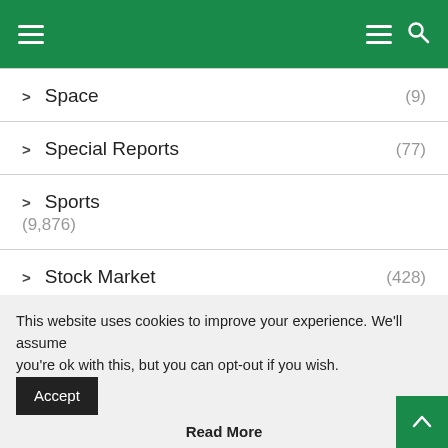Navigation menu header bar
> Space (9)
> Special Reports (77)
> Sports (9,876)
> Stock Market (428)
> Style & Fashion (57)
> Tech (816)
> Travel (957)
This website uses cookies to improve your experience. We'll assume you're ok with this, but you can opt-out if you wish. Accept
Read More